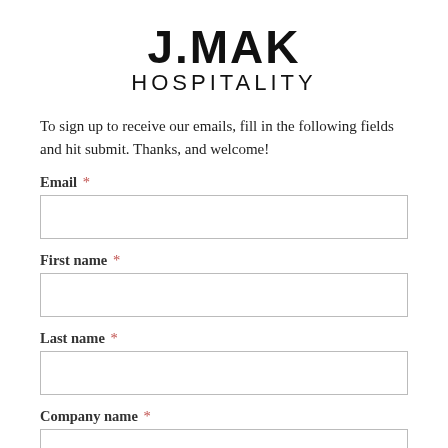J.MAK HOSPITALITY
To sign up to receive our emails, fill in the following fields and hit submit. Thanks, and welcome!
Email *
First name *
Last name *
Company name *